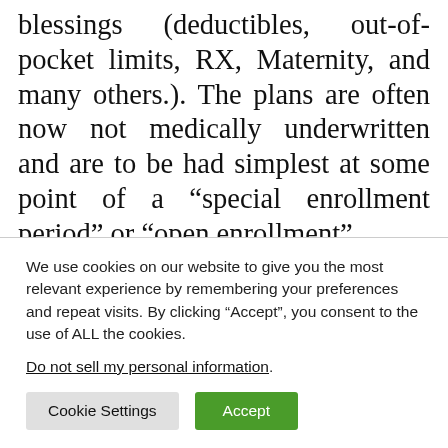blessings (deductibles, out-of-pocket limits, RX, Maternity, and many others.). The plans are often now not medically underwritten and are to be had simplest at some point of a “special enrollment period” or “open enrollment”.
We use cookies on our website to give you the most relevant experience by remembering your preferences and repeat visits. By clicking “Accept”, you consent to the use of ALL the cookies.
Do not sell my personal information.
Cookie Settings
Accept